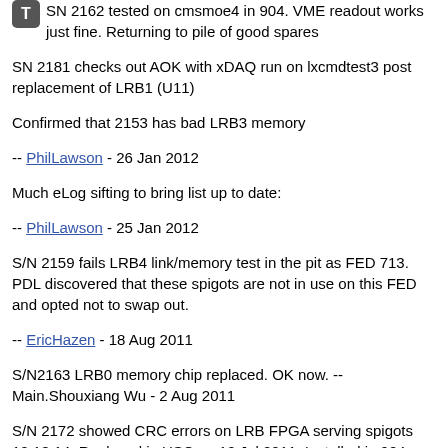SN 2162 tested on cmsmoe4 in 904. VME readout works just fine. Returning to pile of good spares
SN 2181 checks out AOK with xDAQ run on lxcmdtest3 post replacement of LRB1 (U11)
Confirmed that 2153 has bad LRB3 memory
-- PhilLawson - 26 Jan 2012
Much eLog sifting to bring list up to date:
-- PhilLawson - 25 Jan 2012
S/N 2159 fails LRB4 link/memory test in the pit as FED 713. PDL discovered that these spigots are not in use on this FED and opted not to swap out.
-- EricHazen - 18 Aug 2011
S/N2163 LRB0 memory chip replaced. OK now. -- Main.Shouxiang Wu - 2 Aug 2011
S/N 2172 showed CRC errors on LRB FPGA serving spigots 12,13,14. Replaced in USC on 12 Jul 2011. Installed in 904